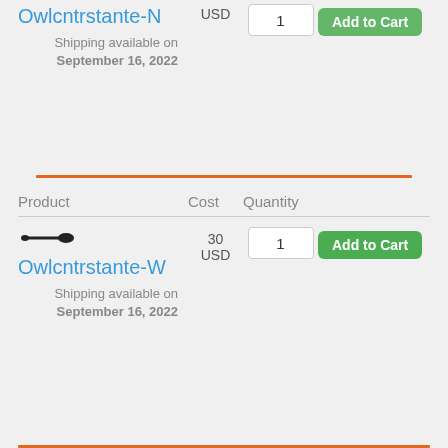Owlcntrstante-N
Shipping available on September 16, 2022
[Figure (other): Orange horizontal divider line]
| Product | Cost | Quantity |
| --- | --- | --- |
| Owlcntrstante-W (with icon) | 30 USD | 1 |
Shipping available on September 16, 2022
[Figure (other): Orange horizontal divider line at bottom]